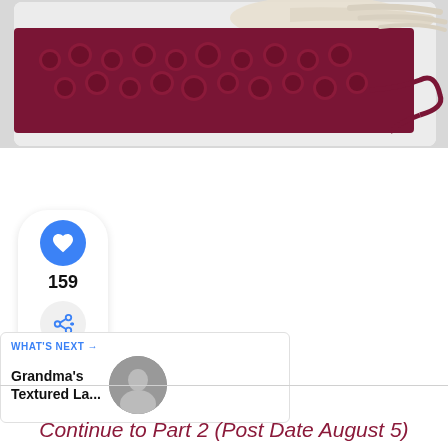[Figure (photo): Close-up photo of burgundy/dark red crochet work showing textured bobble stitches on a white background, with yarn tail trailing to the right]
[Figure (infographic): Social interaction panel with blue heart/like button, count of 159, and share button]
159
[Figure (infographic): What's Next panel showing thumbnail image of person and title 'Grandma's Textured La...']
WHAT'S NEXT → Grandma's Textured La...
Continue to Part 2 (Post Date August 5)